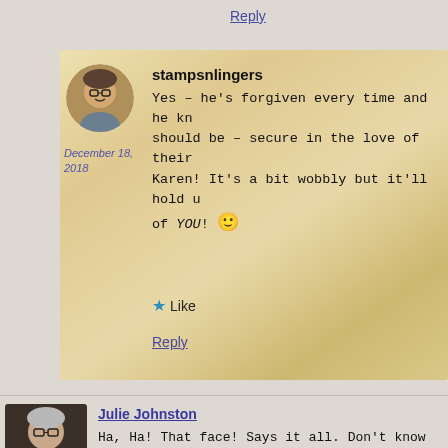Reply
stampsnlingers
December 18, 2018
Yes – he's forgiven every time and he kn should be – secure in the love of their Karen! It's a bit wobbly but it'll hold u of YOU! 🙂
Like
Reply
Julie Johnston
December 18, 2018
Ha, Ha! That face! Says it all. Don't know wh friends/family.
Beautiful 'package'. I wondered what to do in the 'how did Christmas get here so soon'